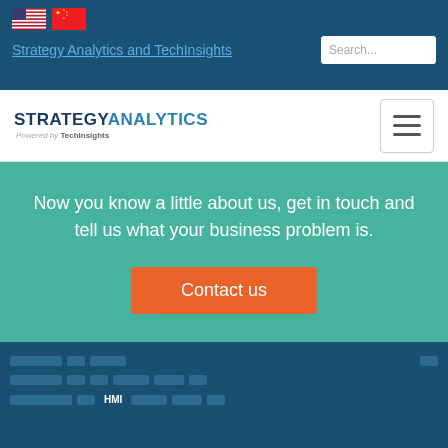Strategy Analytics and TechInsights
[Figure (logo): Strategy Analytics powered by TechInsights logo with hamburger menu]
Now you know a little about us, get in touch and tell us what your business problem is.
Contact us
Footer navigation links (obscured/pixelated)